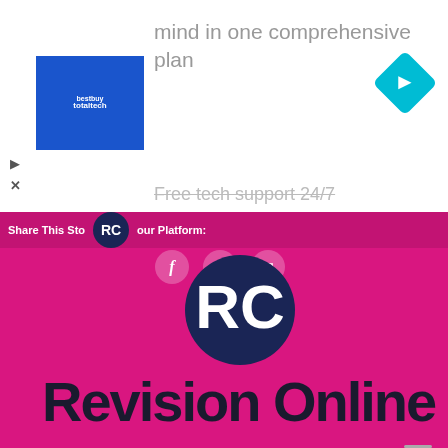[Figure (screenshot): Ad banner showing 'mind in one comprehensive plan' with BestBuy Total Tech logo and a navigation arrow icon, plus 'Free tech support 24/7' text]
[Figure (screenshot): Revision Online website pink banner with share icons (Facebook, Twitter, email), RC logo, and 'Revision Online' text in dark navy bold letters]
About the Author: garikaib
[Figure (logo): Revision Online RC logo - circular logo with dark blue and pink/red colors]
He holds an Honours in Accountancy degree from the University of Zimbabwe. He is passionate about technology and its practical application in today's world.